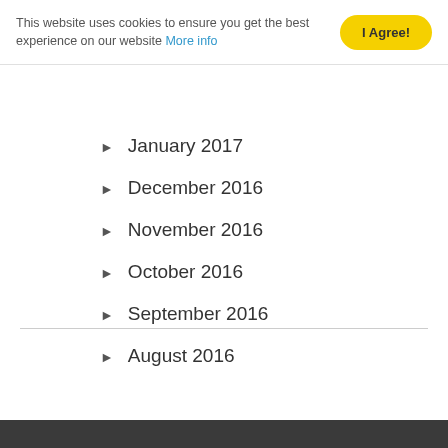This website uses cookies to ensure you get the best experience on our website More info
January 2017
December 2016
November 2016
October 2016
September 2016
August 2016